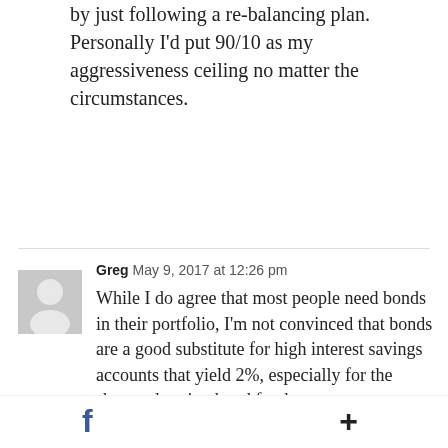by just following a re-balancing plan. Personally I'd put 90/10 as my aggressiveness ceiling no matter the circumstances.
Greg  May 9, 2017 at 12:26 pm
While I do agree that most people need bonds in their portfolio, I'm not convinced that bonds are a good substitute for high interest savings accounts that yield 2%, especially for the shorter duration bond funds.

Also, in Canada, it's not possible for rates to go much lower without going into
f  +